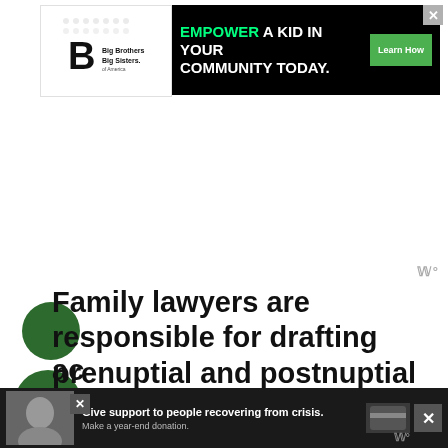[Figure (other): Big Brothers Big Sisters of America logo — white background with stylized B letter and organization name]
[Figure (other): Advertisement banner on black background: 'EMPOWER A KID IN YOUR COMMUNITY TODAY.' with green 'Learn How' button]
www
Family lawyers are responsible for drafting prenuptial and postnuptial agreements and litigating relative issues. Some family lawyers also handle matters from adoptions and subs...
[Figure (other): Bottom advertisement banner: 'Give support to people recovering from crisis. Make a year-end donation.' with photo of person and credit card icons]